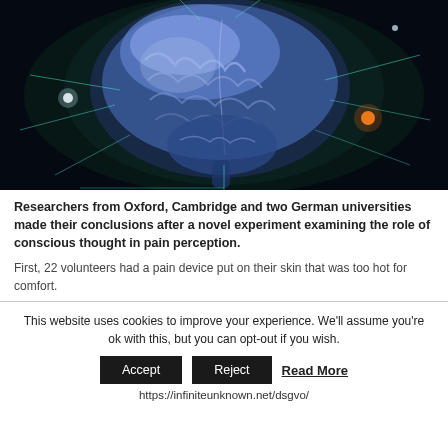[Figure (illustration): Digital illustration of a glowing blue human brain with neural connections, synaptic flashes of light (white, teal, orange) radiating outward, on a dark background.]
Researchers from Oxford, Cambridge and two German universities made their conclusions after a novel experiment examining the role of conscious thought in pain perception.
First, 22 volunteers had a pain device put on their skin that was too hot for comfort.
This website uses cookies to improve your experience. We'll assume you're ok with this, but you can opt-out if you wish.
Accept | Reject | Read More
https://infiniteunknown.net/dsgvo/